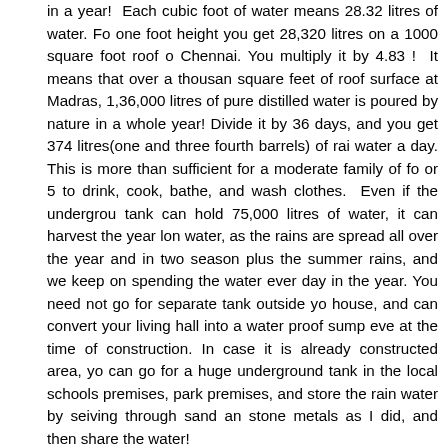in a year!  Each cubic foot of water means 28.32 litres of water. For one foot height you get 28,320 litres on a 1000 square foot roof of Chennai. You multiply it by 4.83 !  It means that over a thousand square feet of roof surface at Madras, 1,36,000 litres of purest distilled water is poured by nature in a whole year! Divide it by 365 days, and you get 374 litres(one and three fourth barrels) of rain water a day. This is more than sufficient for a moderate family of four or 5 to drink, cook, bathe, and wash clothes.  Even if the underground tank can hold 75,000 litres of water, it can harvest the year long water, as the rains are spread all over the year and in two seasons plus the summer rains, and we keep on spending the water every day in the year. You need not go for separate tank outside your house, and can convert your living hall into a water proof sump even at the time of construction. In case it is already constructed area, you can go for a huge underground tank in the local schools premises, or park premises, and store the rain water by seiving through sand and stone metals as I did, and then share the water!
26.  If the forecast is “no”  or “poor rains” in a year, you can stop using the rain water for bathing and washing, or washing alone, and can use only for drinking and cooking, and it can last for a minimum of 3 years at a stretch. Even in years when rains fail in the rest of Tamilnadu, the coastal Tamilnadu, particularly Madras city is hit by